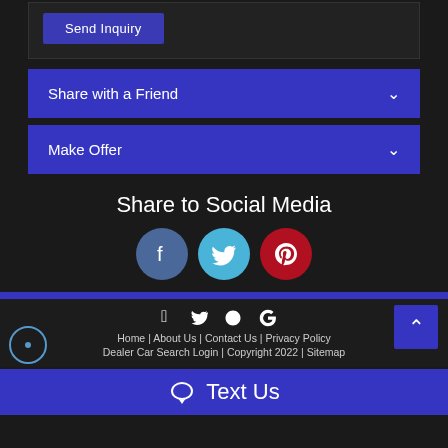[Figure (screenshot): Send Inquiry button inside a dark bordered box]
Share with a Friend
Make Offer
Share to Social Media
[Figure (infographic): Facebook, Twitter, and Pinterest social media circle icons]
Home | About Us | Contact Us | Privacy Policy | Dealer Car Search Login | Copyright 2022 | Sitemap
Text Us